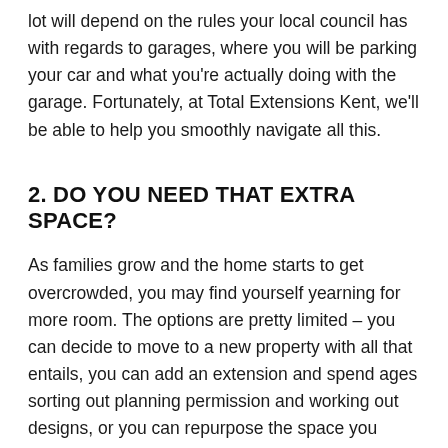lot will depend on the rules your local council has with regards to garages, where you will be parking your car and what you're actually doing with the garage. Fortunately, at Total Extensions Kent, we'll be able to help you smoothly navigate all this.
2. DO YOU NEED THAT EXTRA SPACE?
As families grow and the home starts to get overcrowded, you may find yourself yearning for more room. The options are pretty limited – you can decide to move to a new property with all that entails, you can add an extension and spend ages sorting out planning permission and working out designs, or you can repurpose the space you already